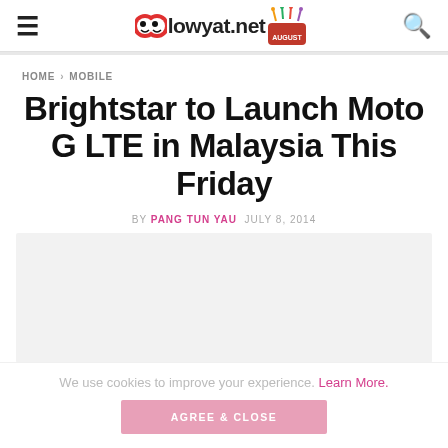lowyat.net
HOME > MOBILE
Brightstar to Launch Moto G LTE in Malaysia This Friday
BY PANG TUN YAU  JULY 8, 2014
[Figure (photo): Article image placeholder (light gray background)]
We use cookies to improve your experience. Learn More.
AGREE & CLOSE